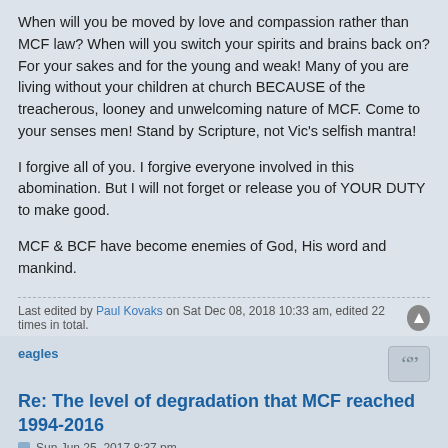When will you be moved by love and compassion rather than MCF law? When will you switch your spirits and brains back on? For your sakes and for the young and weak! Many of you are living without your children at church BECAUSE of the treacherous, looney and unwelcoming nature of MCF. Come to your senses men! Stand by Scripture, not Vic's selfish mantra!
I forgive all of you. I forgive everyone involved in this abomination. But I will not forget or release you of YOUR DUTY to make good.
MCF & BCF have become enemies of God, His word and mankind.
Last edited by Paul Kovaks on Sat Dec 08, 2018 10:33 am, edited 22 times in total.
eagles
Re: The level of degradation that MCF reached 1994-2016
Sun Jun 25, 2017 8:37 pm
Paul,
I am so sad for you and yours. I am familiar with "elder abuse" through an association with the SA Minister for the Ageing's advocacy service - which is now an international crime according to the United Nations.